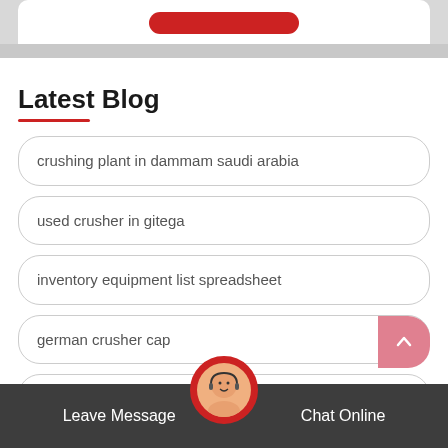[Figure (screenshot): Top banner with white card and red button, industrial background]
Latest Blog
crushing plant in dammam saudi arabia
used crusher in gitega
inventory equipment list spreadsheet
german crusher cap
limestone crusher machines in india
Leave Message   Chat Online